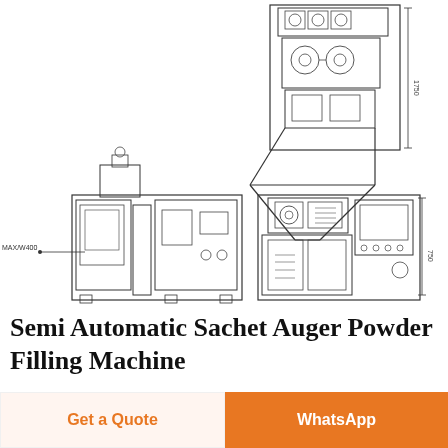[Figure (engineering-diagram): Technical line drawings of a Semi Automatic Sachet Auger Powder Filling Machine shown from multiple views: top-right shows a front/side elevation with hopper and filling mechanism; bottom-left shows a front view with label MAX/W400; bottom-right shows a side elevation view of the machine.]
Semi Automatic Sachet Auger Powder Filling Machine
We re professional Semi Automatic Sachet Auger Powder Filling Machine manufacturers and suppliers for 20 years specialized in providing
Get a Quote   WhatsApp